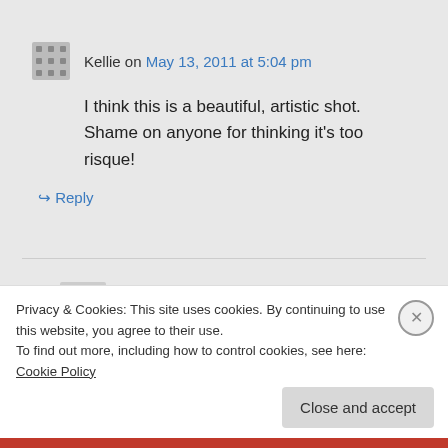Kellie on May 13, 2011 at 5:04 pm
I think this is a beautiful, artistic shot. Shame on anyone for thinking it's too risque!
↳ Reply
Alezzandria1 on May 14, 2011 at 1:34
Privacy & Cookies: This site uses cookies. By continuing to use this website, you agree to their use.
To find out more, including how to control cookies, see here: Cookie Policy
Close and accept